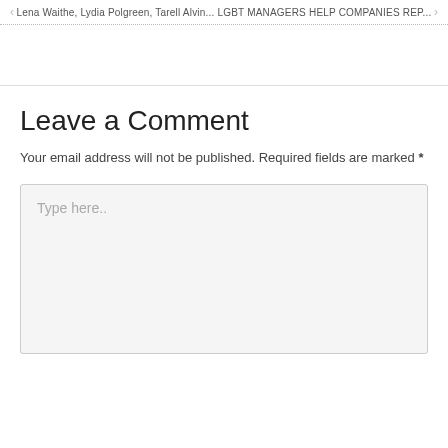Lena Waithe, Lydia Polgreen, Tarell Alvin... LGBT MANAGERS HELP COMPANIES REP...
Leave a Comment
Your email address will not be published. Required fields are marked *
Type here..